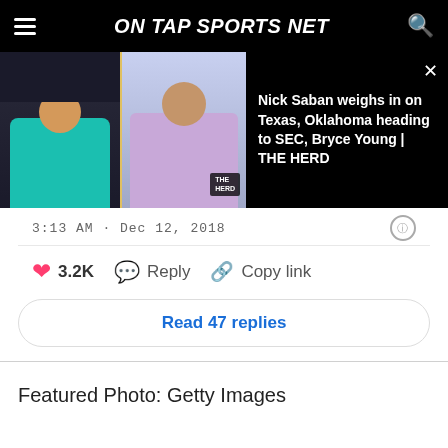ON TAP SPORTS NET
[Figure (screenshot): Video thumbnail overlay showing Nick Saban and Colin Cowherd side by side with text: Nick Saban weighs in on Texas, Oklahoma heading to SEC, Bryce Young | THE HERD]
3:13 AM · Dec 12, 2018
❤ 3.2K   💬 Reply   🔗 Copy link
Read 47 replies
Featured Photo: Getty Images